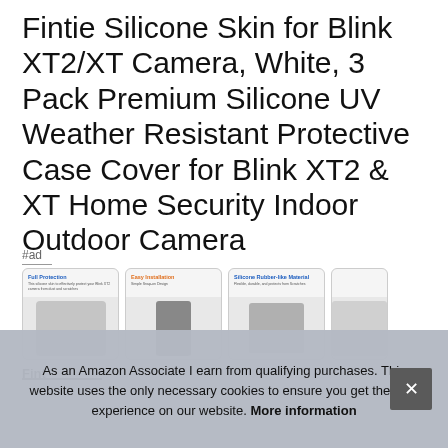Fintie Silicone Skin for Blink XT2/XT Camera, White, 3 Pack Premium Silicone UV Weather Resistant Protective Case Cover for Blink XT2 & XT Home Security Indoor Outdoor Camera
#ad
[Figure (photo): Row of four product thumbnail images showing silicone camera skin from different angles, with labels: Full Protection, Easy Installation, Silicone Rubber-like Material, and a fourth partially visible]
Fint
As an Amazon Associate I earn from qualifying purchases. This website uses the only necessary cookies to ensure you get the best experience on our website. More information